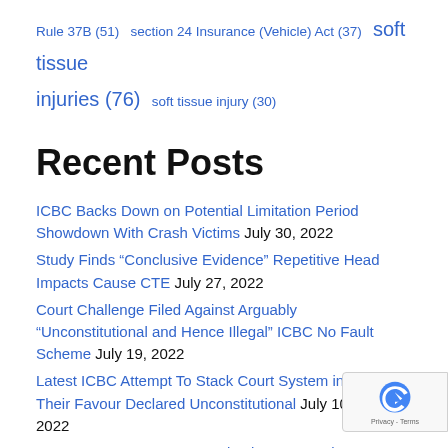Rule 37B (51)  section 24 Insurance (Vehicle) Act (37)  soft tissue injuries (76)  soft tissue injury (30)
Recent Posts
ICBC Backs Down on Potential Limitation Period Showdown With Crash Victims  July 30, 2022
Study Finds “Conclusive Evidence” Repetitive Head Impacts Cause CTE  July 27, 2022
Court Challenge Filed Against Arguably “Unconstitutional and Hence Illegal” ICBC No Fault Scheme  July 19, 2022
Latest ICBC Attempt To Stack Court System in Their Favour Declared Unconstitutional  July 10, 2022
MacIsaac & Company Investigating BC Employ…